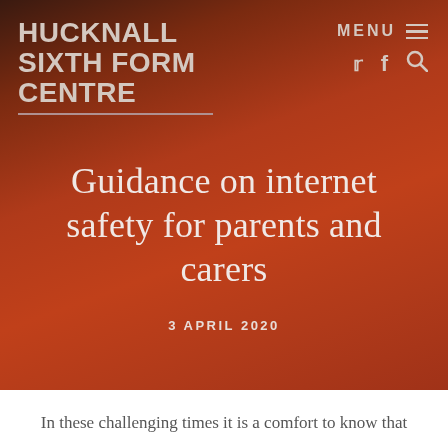HUCKNALL SIXTH FORM CENTRE
Guidance on internet safety for parents and carers
3 APRIL 2020
In these challenging times it is a comfort to know that